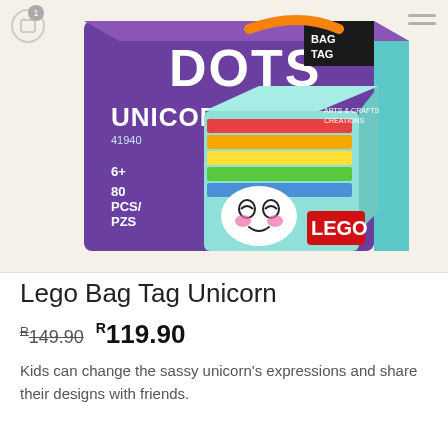[Figure (photo): LEGO DOTS Unicorn Bag Tag product box (set 41940). Purple and teal box showing a unicorn-faced bag tag with rainbow stripe. 6+ age rating, 80 pieces. LEGO logo in red on box.]
Lego Bag Tag Unicorn
R149.90  R119.90
Kids can change the sassy unicorn's expressions and share their designs with friends.